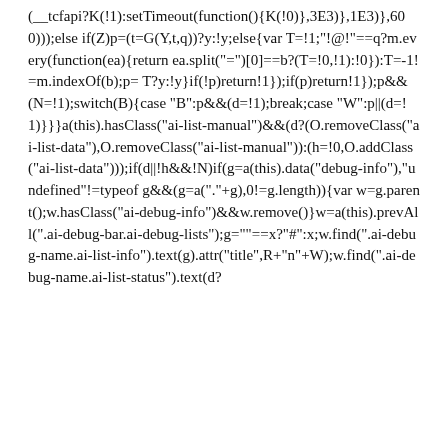(__tcfapi?K(!1):setTimeout(function(){K(!0)},3E3)},1E3)},600)));else if(Z)p=(t=G(Y,t,q))?y:!y;else{var T=!1;"!@!"==q?m.every(function(ea){return ea.split("=")[0]==b?(T=!0,!1):!0}):T=-1!=m.indexOf(b);p= T?y:!y}if(!p)return!1});if(p)return!1});p&&(N=!1);switch(B){case "B":p&&(d=!1);break;case "W":p||(d=!1)}}}a(this).hasClass("ai-list-manual")&&(d?(O.removeClass("ai-list-data"),O.removeClass("ai-list-manual")):(h=!0,O.addClass("ai-list-data")));if(d||!h&&!N)if(g=a(this).data("debug-info"),"undefined"!=typeof g&&(g=a("."+g),0!=g.length)){var w=g.parent();w.hasClass("ai-debug-info")&&w.remove()}w=a(this).prevAll(".ai-debug-bar.ai-debug-lists");g=""==x?"#":x;w.find(".ai-debug-name.ai-list-info").text(g).attr("title",R+"n"+W);w.find(".ai-debug-name.ai-list-status").text(d?